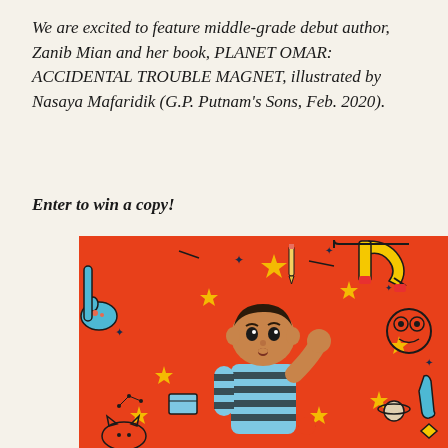We are excited to feature middle-grade debut author, Zanib Mian and her book, PLANET OMAR: ACCIDENTAL TROUBLE MAGNET, illustrated by Nasaya Mafaridik (G.P. Putnam's Sons, Feb. 2020).
Enter to win a copy!
[Figure (illustration): Book cover illustration for Planet Omar: Accidental Trouble Magnet. A cartoon boy with dark hair wearing a light blue and black striped shirt stands scratching his head with a confused expression. The background is bright orange with doodles of stars, magnets, a planet, a moon, animals, books, and other objects scattered around.]